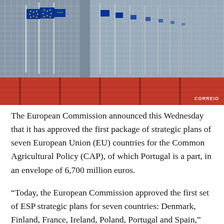[Figure (photo): Exterior photo of the European Commission (Berlaymont) building in Brussels with EU flags on flagpoles in front, and a red barrier/fence at the bottom. A watermark reading 'CORREIO' appears in the lower right.]
The European Commission announced this Wednesday that it has approved the first package of strategic plans of seven European Union (EU) countries for the Common Agricultural Policy (CAP), of which Portugal is a part, in an envelope of 6,700 million euros.
“Today, the European Commission approved the first set of ESP strategic plans for seven countries: Denmark, Finland, France, Ireland, Poland, Portugal and Spain,”